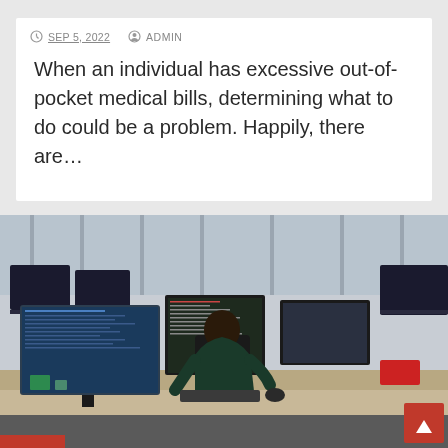SEP 5, 2022  ADMIN
When an individual has excessive out-of-pocket medical bills, determining what to do could be a problem. Happily, there are…
[Figure (photo): Office scene with person sitting at desk surrounded by multiple computer monitors in an open-plan workspace]